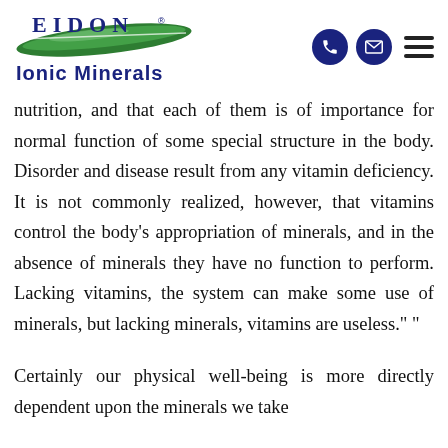Eidon Ionic Minerals
nutrition, and that each of them is of importance for normal function of some special structure in the body. Disorder and disease result from any vitamin deficiency. It is not commonly realized, however, that vitamins control the body’s appropriation of minerals, and in the absence of minerals they have no function to perform. Lacking vitamins, the system can make some use of minerals, but lacking minerals, vitamins are useless.” ”
Certainly our physical well-being is more directly dependent upon the minerals we take